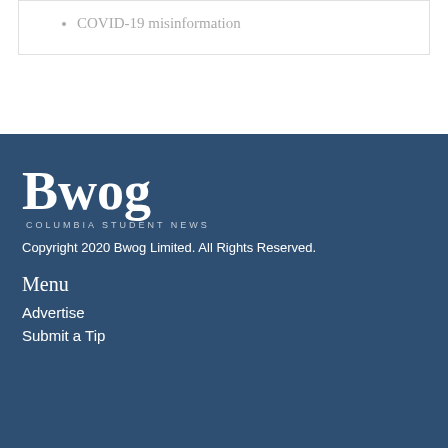COVID-19 misinformation
[Figure (logo): Bwog - Columbia Student News logo in white on dark blue background]
Copyright 2020 Bwog Limited. All Rights Reserved.
Menu
Advertise
Submit a Tip